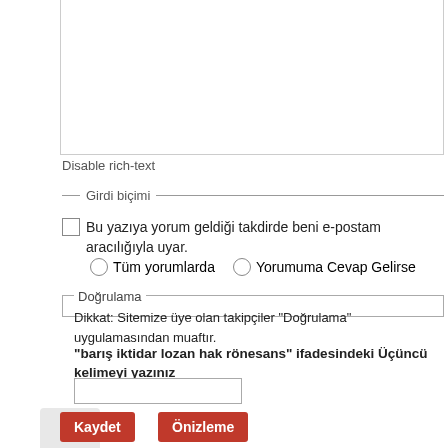[Figure (screenshot): Textarea input box (rich-text editor area, empty)]
Disable rich-text
— Girdi biçimi —
Bu yazıya yorum geldiği takdirde beni e-postam aracılığıyla uyar.
Tüm yorumlarda
Yorumuma Cevap Gelirse
Doğrulama
Dikkat: Sitemize üye olan takipçiler "Doğrulama" uygulamasından muaftır.
"barış iktidar lozan hak rönesans" ifadesindeki Üçüncü kelimeyi yazınız
Kaydet
Önizleme